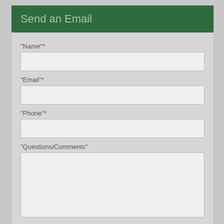Send an Email
"Name"*
"Email"*
"Phone"*
"Questions/Comments"
Are you human? Solve this equation: 7 + 5 =